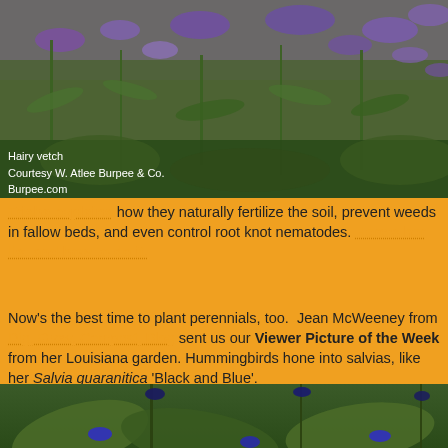[Figure (photo): Photo of hairy vetch plant with purple flowers in a green field]
Hairy vetch
Courtesy W. Atlee Burpee & Co.
Burpee.com
Trisha explains how they naturally fertilize the soil, prevent weeds in fallow beds, and even control root knot nematodes. Here's her list and how to do it.
Now's the best time to plant perennials, too. Jean McWeeney from Dig, Grow, Compost, Blog sent us our Viewer Picture of the Week from her Louisiana garden. Hummingbirds hone into salvias, like her Salvia guaranitica 'Black and Blue'.
[Figure (photo): Photo of Salvia guaranitica 'Black and Blue' plant with deep blue-black flowers and green leaves]